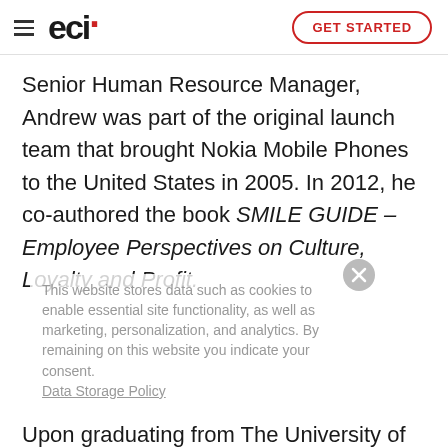eci | GET STARTED
Senior Human Resource Manager, Andrew was part of the original launch team that brought Nokia Mobile Phones to the United States in 2005. In 2012, he co-authored the book SMILE GUIDE – Employee Perspectives on Culture, Loyalty and Profit.
This website stores data such as cookies to enable essential site functionality, as well as marketing, personalization, and analytics. By remaining on this website you indicate your consent.
Upon graduating from The University of Texas at Arlington, Andrew was named a White House Intern by President George H. W. Bush. During his time at The White House, he worked on the president's Thousand Points of Light project. He is a past president of the Society for Human Resources Management's Fort Worth Chapter. Andrew married
Data Storage Policy